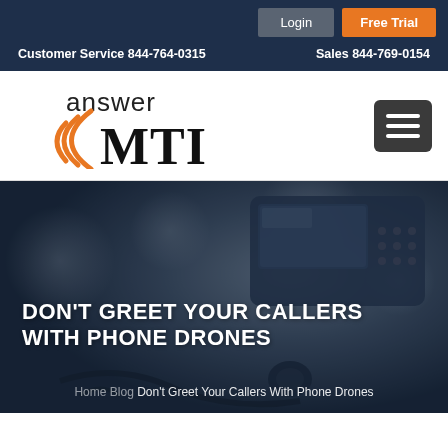Customer Service 844-764-0315   Sales 844-769-0154
[Figure (logo): Answer MTI logo with orange wave signal marks and bold MTI text]
DON'T GREET YOUR CALLERS WITH PHONE DRONES
Home Blog Don't Greet Your Callers With Phone Drones